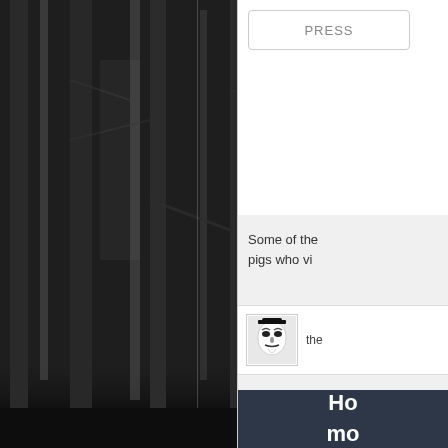[Figure (photo): Black and white photograph of a dense forest with bare tall trees, dark atmospheric image]
PRESS
Some of the pigs who vi
[Figure (photo): Small avatar image of a Guy Fawkes / Anonymous mask (black and white)]
the
Ho mo